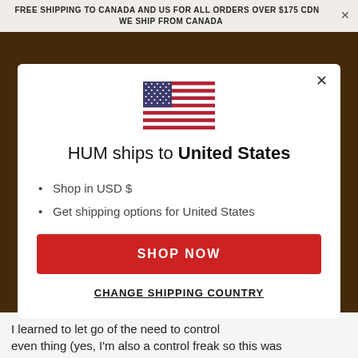FREE SHIPPING TO CANADA AND US FOR ALL ORDERS OVER $175 CDN   WE SHIP FROM CANADA
[Figure (illustration): US flag emoji/icon centered in modal]
HUM ships to United States
Shop in USD $
Get shipping options for United States
SHOP NOW
CHANGE SHIPPING COUNTRY
I learned to let go of the need to control even thing (yes, I'm also a control freak so this was